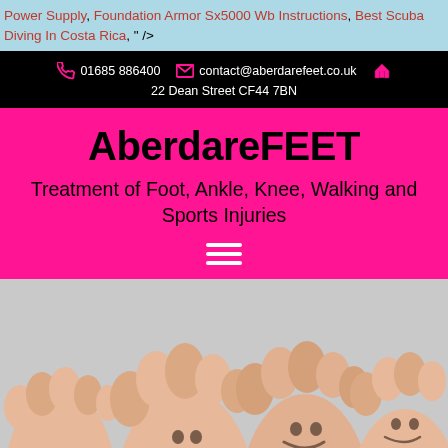Power Supply, Foundation Armor Sx5000 Wb Instructions, Best Scuba Diving In Costa Rica, " />
01685 886400   contact@aberdarefeet.co.uk   22 Dean Street CF44 7BN
AberdareFEET
Treatment of Foot, Ankle, Knee, Walking and Sports Injuries
[Figure (photo): Photo showing the soles of several feet with cartoon smiley faces drawn on them, against a light grey background]